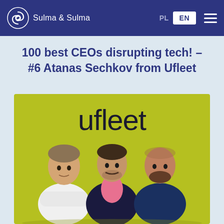Sulma & Sulma — Navigation bar with PL / EN language switcher and hamburger menu
100 best CEOs disrupting tech! – #6 Atanas Sechkov from Ufleet
[Figure (photo): Three men standing in front of a yellow-green wall with the 'ufleet' logo. Left man wears a white shirt with arms crossed, center man wears a dark blazer over pink shirt, right man wears a dark patterned shirt with arms crossed.]